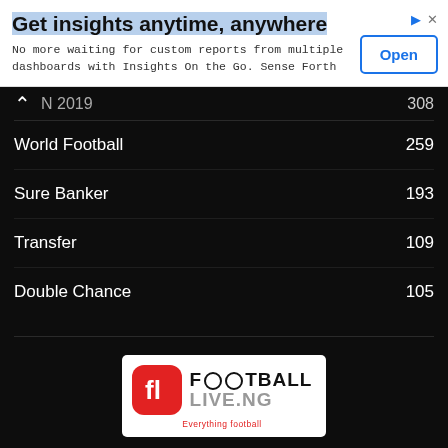[Figure (screenshot): Advertisement banner: 'Get insights anytime, anywhere' with Open button]
N 2019   308
World Football   259
Sure Banker   193
Transfer   109
Double Chance   105
[Figure (logo): Football Live NG logo - Everything football]